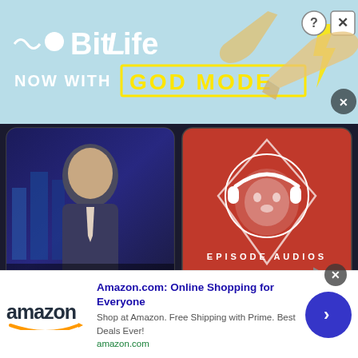[Figure (screenshot): BitLife 'Now with GOD MODE' advertisement banner with light blue background, white BitLife logo text, yellow GOD MODE text in yellow box, cartoon hands pointing, help and close buttons]
[Figure (screenshot): Adam Sosnick podcast thumbnail on dark background showing a man in a suit, and red Episode Audios panel with lion wearing headphones logo]
We use cookies on our website to give you the most relevant experience by remembering your preferences and repeat visits. By clicking “Accept,” you consent to the use of ALL the
[Figure (screenshot): Amazon.com online advertisement: 'Amazon.com: Online Shopping for Everyone', Shop at Amazon. Free Shipping with Prime. Best Deals Ever!, amazon.com, with Amazon logo and blue arrow button]